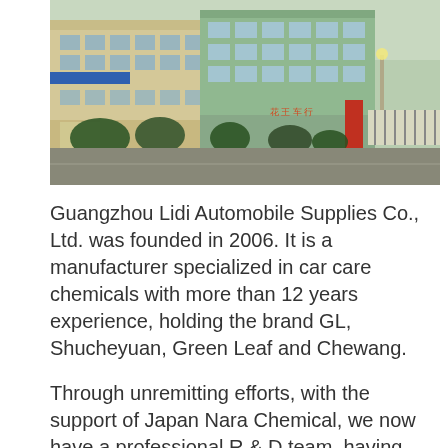[Figure (photo): Exterior view of a factory/manufacturing facility building in China, showing green-painted multi-story buildings, metal gate, street, and trees in front.]
Guangzhou Lidi Automobile Supplies Co., Ltd. was founded in 2006. It is a manufacturer specialized in car care chemicals with more than 12 years experience, holding the brand GL, Shucheyuan, Green Leaf and Chewang.
Through unremitting efforts, with the support of Japan Nara Chemical, we now have a professional R & D team, having developed environmental friendly antifreeze, refrigerant, brake fluid, transmission fluid, cleaner and polish spray for automatic and industrial use.
To ensure the quality of the product, we carefully select the materials, strictly control the production processes, to offer satisfactory...